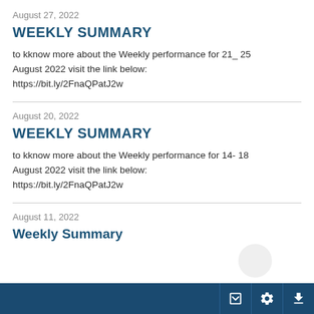August 27, 2022
WEEKLY SUMMARY
to kknow more about the Weekly performance for 21_ 25 August 2022 visit the link below:
https://bit.ly/2FnaQPatJ2w
August 20, 2022
WEEKLY SUMMARY
to kknow more about the Weekly performance for 14- 18 August 2022 visit the link below:
https://bit.ly/2FnaQPatJ2w
August 11, 2022
Weekly Summary